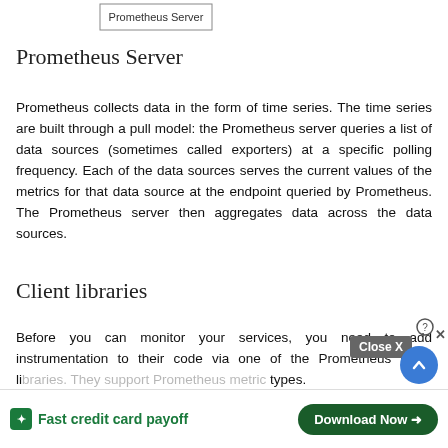[Figure (other): Diagram box labeled 'Prometheus Server' at top of page]
Prometheus Server
Prometheus collects data in the form of time series. The time series are built through a pull model: the Prometheus server queries a list of data sources (sometimes called exporters) at a specific polling frequency. Each of the data sources serves the current values of the metrics for that data source at the endpoint queried by Prometheus. The Prometheus server then aggregates data across the data sources.
Client libraries
Before you can monitor your services, you need to add instrumentation to their code via one of the Prometheus client libraries. They support Prometheus metric types.